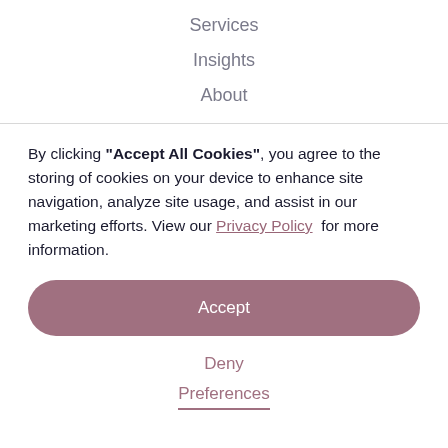Services
Insights
About
By clicking “Accept All Cookies”, you agree to the storing of cookies on your device to enhance site navigation, analyze site usage, and assist in our marketing efforts. View our Privacy Policy for more information.
Accept
Deny
Preferences